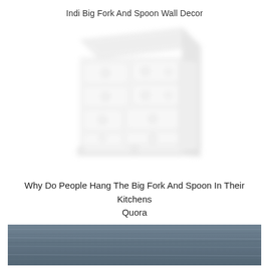Indi Big Fork And Spoon Wall Decor
[Figure (photo): A blurred/faded white wooden dresser with multiple drawers featuring circular ring pulls, shown at a slight angle against a white background.]
Why Do People Hang The Big Fork And Spoon In Their Kitchens Quora
[Figure (photo): A dark blue-grey weathered wooden plank surface texture, shown as a horizontal band at the bottom of the page.]